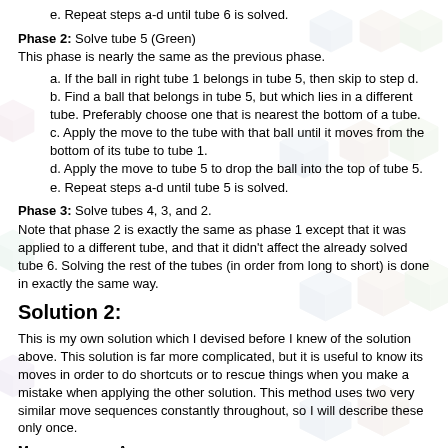e. Repeat steps a-d until tube 6 is solved.
Phase 2: Solve tube 5 (Green)
This phase is nearly the same as the previous phase.
a. If the ball in right tube 1 belongs in tube 5, then skip to step d.
b. Find a ball that belongs in tube 5, but which lies in a different tube. Preferably choose one that is nearest the bottom of a tube.
c. Apply the move to the tube with that ball until it moves from the bottom of its tube to tube 1.
d. Apply the move to tube 5 to drop the ball into the top of tube 5.
e. Repeat steps a-d until tube 5 is solved.
Phase 3: Solve tubes 4, 3, and 2.
Note that phase 2 is exactly the same as phase 1 except that it was applied to a different tube, and that it didn't affect the already solved tube 6. Solving the rest of the tubes (in order from long to short) is done in exactly the same way.
Solution 2:
This is my own solution which I devised before I knew of the solution above. This solution is far more complicated, but it is useful to know its moves in order to do shortcuts or to rescue things when you make a mistake when applying the other solution. This method uses two very similar move sequences constantly throughout, so I will describe these only once.
Move sequence A: